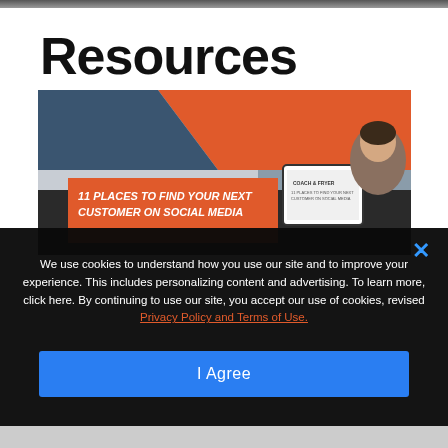Resources
[Figure (screenshot): Resource banner image showing '11 Places to Find Your Next Customer on Social Media' promotional graphic with a man peeking from the right side, orange and blue diagonal design elements, and a tablet mockup of the guide. Coach & Fryer branding visible.]
We use cookies to understand how you use our site and to improve your experience. This includes personalizing content and advertising. To learn more, click here. By continuing to use our site, you accept our use of cookies, revised Privacy Policy and Terms of Use.
I Agree